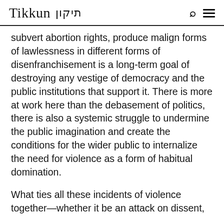Tikkun תיקון
subvert abortion rights, produce malign forms of lawlessness in different forms of disenfranchisement is a long-term goal of destroying any vestige of democracy and the public institutions that support it. There is more at work here than the debasement of politics, there is also a systemic struggle to undermine the public imagination and create the conditions for the wider public to internalize the need for violence as a form of habitual domination.
What ties all these incidents of violence together—whether it be an attack on dissent,